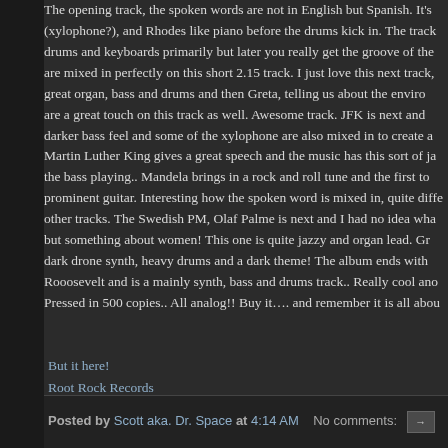The opening track, the spoken words are not in English but Spanish. It's (xylophone?), and Rhodes like piano before the drums kick in.  The track drums and keyboards primarily but later you really get the groove of the are mixed in perfectly on this short  2.15 track.  I just love this next track, great organ, bass and drums and then Greta, telling us about the enviro are a great touch on this track as well. Awesome track.  JFK is next and darker bass feel and some of the xylophone are also mixed in to create a Martin Luther King gives a great speech and the music has this sort of ja the bass playing..  Mandela brings in a rock and roll tune and the first to prominent guitar. Interesting how the spoken word is mixed in, quite diffe other tracks. The Swedish PM, Olaf Palme is next and I had no idea wha but something about women! This one is quite jazzy and organ lead.  Gr dark drone synth, heavy drums and a dark theme! The album ends with  Rooosevelt and is a mainly synth, bass and drums track..  Really cool ano Pressed in 500 copies.. All analog!! Buy it…. and remember it is all abou
But it here!
Root Rock Records
Posted by Scott aka. Dr. Space at 4:14 AM   No comments: